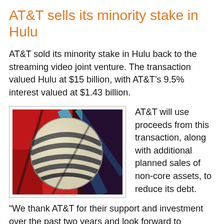AT&T sells its minority stake in Hulu
AT&T sold its minority stake in Hulu back to the streaming video joint venture. The transaction valued Hulu at $15 billion, with AT&T’s 9.5% interest valued at $1.43 billion.
[Figure (photo): AT&T logo globe sculpture against colorful red and blue background]
AT&T will use proceeds from this transaction, along with additional planned sales of non-core assets, to reduce its debt.
“We thank AT&T for their support and investment over the past two years and look forward to collaboration in the future. WarnerMedia will remain a valued partner to Hulu for years to come as we offer customers the best of TV, live and on demand, with the best of OTT.ˮ Randy T...